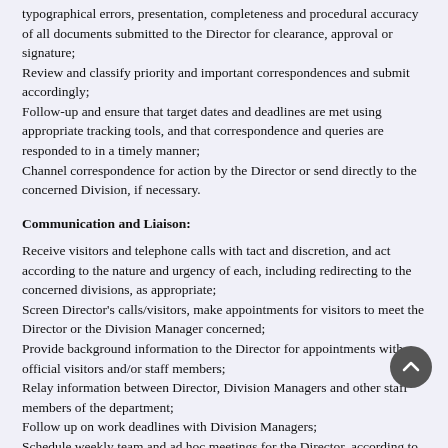typographical errors, presentation, completeness and procedural accuracy of all documents submitted to the Director for clearance, approval or signature;
Review and classify priority and important correspondences and submit accordingly;
Follow-up and ensure that target dates and deadlines are met using appropriate tracking tools, and that correspondence and queries are responded to in a timely manner;
Channel correspondence for action by the Director or send directly to the concerned Division, if necessary.
Communication and Liaison:
Receive visitors and telephone calls with tact and discretion, and act according to the nature and urgency of each, including redirecting to the concerned divisions, as appropriate;
Screen Director's calls/visitors, make appointments for visitors to meet the Director or the Division Manager concerned;
Provide background information to the Director for appointments with official visitors and/or staff members;
Relay information between Director, Division Managers and other staff members of the department;
Follow up on work deadlines with Division Managers;
Schedule weekly team and ad hoc meetings for the Director, according to schedules and Director's Agenda for the week;
Arrange time and venue for meetings, collect necessary background materials of meetings needed from the relevant Departments/Divisions; Remind Division Managers and other